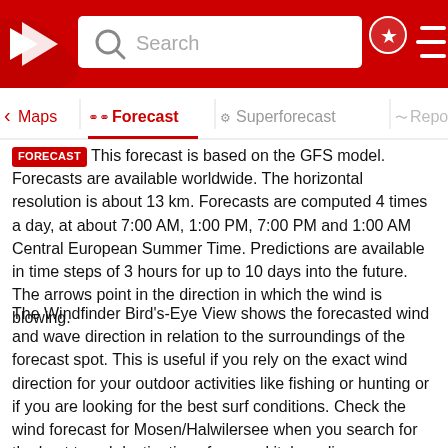[Figure (screenshot): Windfinder website top navigation bar with red background, logo, search box, pin icon, and hamburger menu]
[Figure (screenshot): Navigation tabs: Maps, Forecast (active), Superforecast, Report]
FORECAST This forecast is based on the GFS model. Forecasts are available worldwide. The horizontal resolution is about 13 km. Forecasts are computed 4 times a day, at about 7:00 AM, 1:00 PM, 7:00 PM and 1:00 AM Central European Summer Time. Predictions are available in time steps of 3 hours for up to 10 days into the future. The arrows point in the direction in which the wind is blowing.
The Windfinder Bird's-Eye View shows the forecasted wind and wave direction in relation to the surroundings of the forecast spot. This is useful if you rely on the exact wind direction for your outdoor activities like fishing or hunting or if you are looking for the best surf conditions. Check the wind forecast for Mosen/Halwilersee when you search for the best travel destinations for your kiteboarding, windsurfing or sailing vacations in Switzerland. Or use our wind forecast to find the wind speed today in Mosen/Halwilersee or to have a look at the wind direction